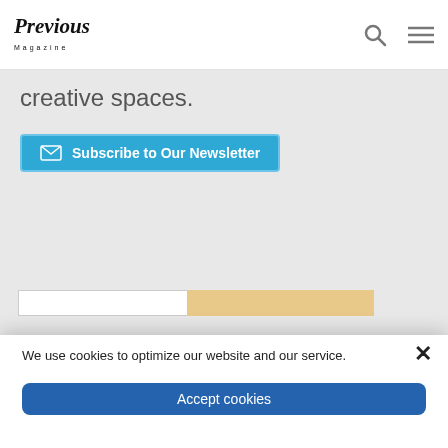Previous Magazine
creative spaces.
Subscribe to Our Newsletter
We use cookies to optimize our website and our service.
Accept cookies
Functional only
View preferences
Cookie Policy  Privacy Policy